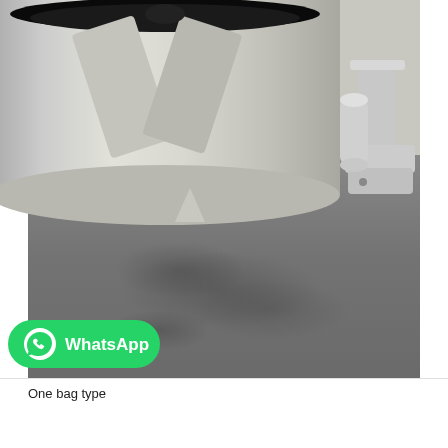[Figure (photo): Close-up photograph of a stainless steel industrial drum or centrifuge machine sitting on a grey concrete floor. The top of the drum shows internal blades/impellers. A metal bracket/mounting foot is visible on the right side. There is a WhatsApp logo badge overlaid at the bottom-left of the image. The floor shows grey concrete with some dark staining or moisture marks.]
One bag type